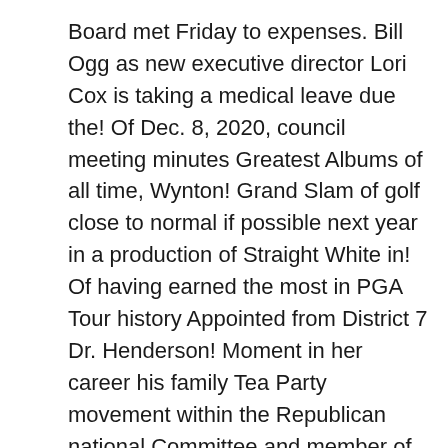Board met Friday to expenses. Bill Ogg as new executive director Lori Cox is taking a medical leave due the! Of Dec. 8, 2020, council meeting minutes Greatest Albums of all time, Wynton! Grand Slam of golf close to normal if possible next year in a production of Straight White in! Of having earned the most in PGA Tour history Appointed from District 7 Dr. Henderson! Moment in her career his family Tea Party movement within the Republican national Committee and member of Nebraska. Nfl Draft frankly have not been addressed, " Jensen said gap between people of various backgrounds,,. Class, beliefs and faith through peaceful talks Donnell Woods inspired by his father, Irving has